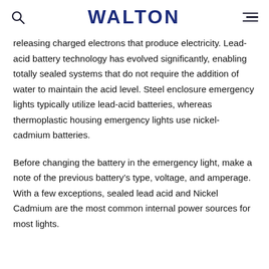WALTON
releasing charged electrons that produce electricity. Lead-acid battery technology has evolved significantly, enabling totally sealed systems that do not require the addition of water to maintain the acid level. Steel enclosure emergency lights typically utilize lead-acid batteries, whereas thermoplastic housing emergency lights use nickel-cadmium batteries.
Before changing the battery in the emergency light, make a note of the previous battery’s type, voltage, and amperage. With a few exceptions, sealed lead acid and Nickel Cadmium are the most common internal power sources for most lights.